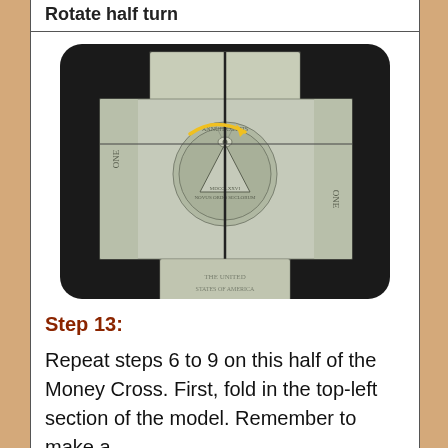Rotate half turn
[Figure (photo): A folded US dollar bill arranged in a cross/plus shape on a black background, viewed from above. A yellow curved arrow indicates a rotation. The bill shows the back side with the Great Seal visible.]
Step 13:
Repeat steps 6 to 9 on this half of the Money Cross. First, fold in the top-left section of the model. Remember to make a